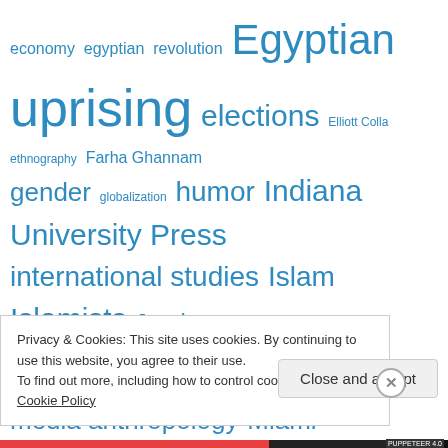[Figure (infographic): Tag cloud with blue-colored terms related to Egypt, politics, anthropology, and media. Terms vary in size indicating frequency/weight. Terms include: economy, egyptian, revolution, Egyptian, uprising, elections, Elliott Colla, ethnography, Farha Ghannam, gender, globalization, humor, Indiana University Press, international studies, Islam, Islamists, Jessica Winegar, Julia Elyachar, liminality, linguistic anthropology, martyr, media anthropology, Miami University, middle-east, military, Mohamed Morsi, movies, Mubarak, music, Muslim Brotherhood, NDP, neoliberalism, news]
Privacy & Cookies: This site uses cookies. By continuing to use this website, you agree to their use. To find out more, including how to control cookies, see here: Cookie Policy
Close and accept